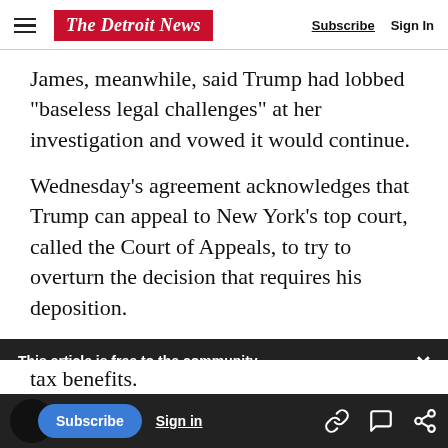The Detroit News | Subscribe | Sign In
James, meanwhile, said Trump had lobbed “baseless legal challenges” at her investigation and vowed it would continue.
Wednesday’s agreement acknowledges that Trump can appeal to New York’s top court, called the Court of Appeals, to try to overturn the decision that requires his deposition.
This article is free to the community.
$1 for 6 Months.
Subscribe now
politician had a history of misrepresenting the
tax benefits.